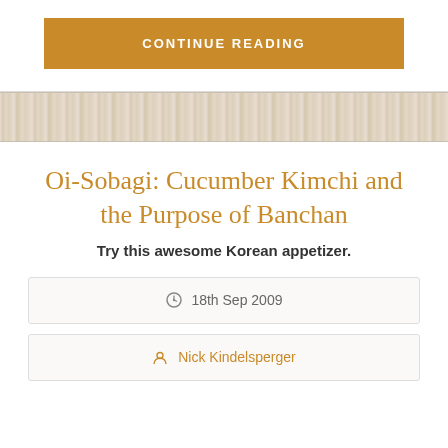CONTINUE READING
Oi-Sobagi: Cucumber Kimchi and the Purpose of Banchan
Try this awesome Korean appetizer.
18th Sep 2009
Nick Kindelsperger